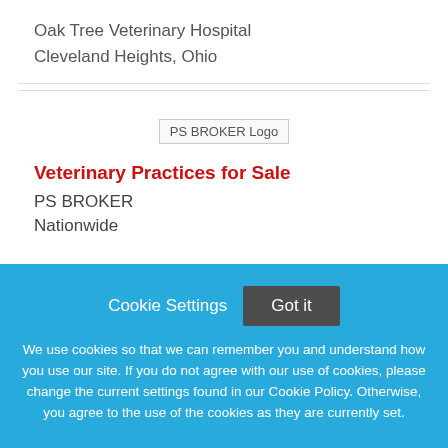Oak Tree Veterinary Hospital
Cleveland Heights, Ohio
[Figure (logo): PS BROKER Logo placeholder image]
Veterinary Practices for Sale
PS BROKER
Nationwide
Cookie Settings
Got it
We use cookies so that we can remember you and understand how you use our site. If you do not agree with our use of cookies, please change the current settings found in our Cookie Policy. Otherwise, you agree to the use of the cookies as they are currently set.